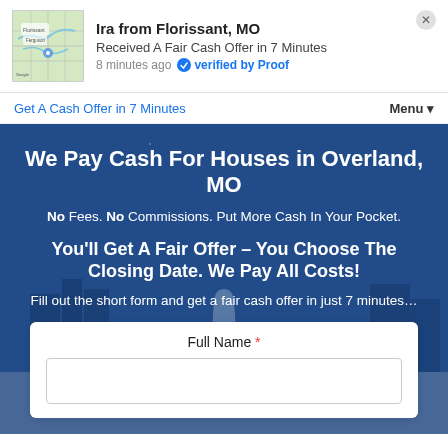[Figure (infographic): Notification popup showing Ira from Florissant MO received a fair cash offer in 7 minutes, with map thumbnail, 8 minutes ago, verified by Proof badge]
Get A Cash Offer in 7 Minutes
Menu ▼
We Pay Cash For Houses in Overland, MO
No Fees. No Commissions. Put More Cash In Your Pocket.
You'll Get A Fair Offer – You Choose The Closing Date. We Pay All Costs!
Fill out the short form and get a fair cash offer in just 7 minutes…
Full Name *
[Figure (screenshot): Empty text input field for Full Name]